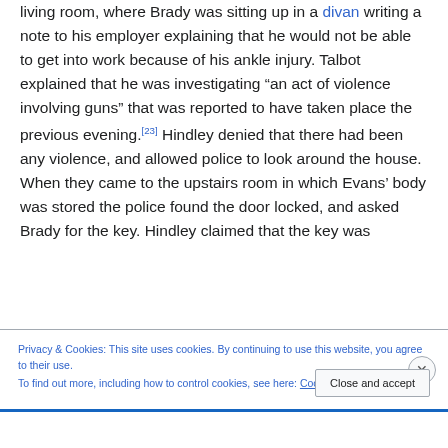living room, where Brady was sitting up in a divan writing a note to his employer explaining that he would not be able to get into work because of his ankle injury. Talbot explained that he was investigating “an act of violence involving guns” that was reported to have taken place the previous evening.[23] Hindley denied that there had been any violence, and allowed police to look around the house. When they came to the upstairs room in which Evans’ body was stored the police found the door locked, and asked Brady for the key. Hindley claimed that the key was
Privacy & Cookies: This site uses cookies. By continuing to use this website, you agree to their use.
To find out more, including how to control cookies, see here: Cookie Policy